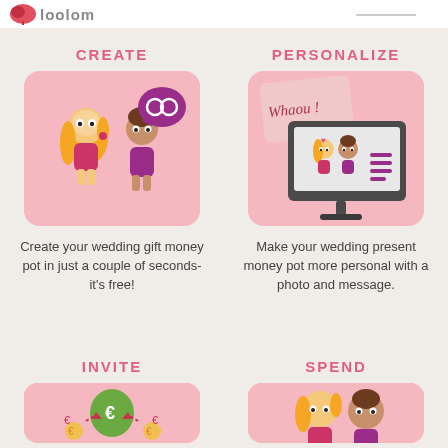[Figure (logo): Loolom brand logo with leaf icon and text]
CREATE
[Figure (illustration): Two cartoon characters (woman with orange hair and man) with a speech bubble showing wedding rings]
Create your wedding gift money pot in just a couple of seconds- it's free!
PERSONALIZE
[Figure (illustration): A computer monitor displaying a couple and a list, with a speech bubble saying Whaou!]
Make your wedding present money pot more personal with a photo and message.
INVITE
[Figure (illustration): Green money bag with euro sign, coins with euro symbols, and people contributing money]
SPEND
[Figure (illustration): Two cartoon characters (woman and man) appearing happy at the bottom right]